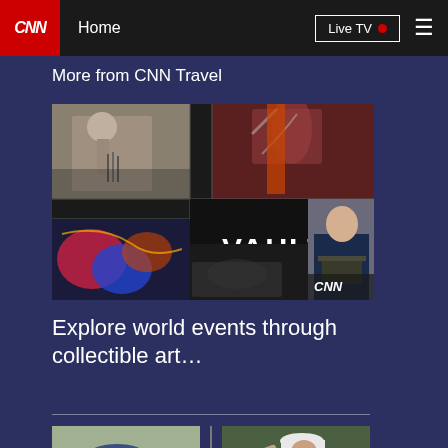CNN | Home | Live TV
More from CNN Travel
[Figure (photo): Vault by CNN promotional image showing a collage of historical news photos and events with the text VAULT BY CNN in the center]
Explore world events through collectible art…
[Figure (photo): Two thumbnail images showing golfers at the bottom of the page]